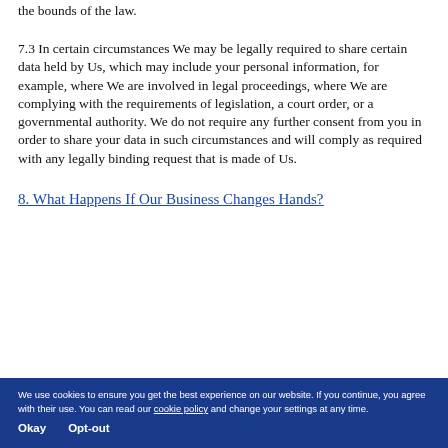the bounds of the law.
7.3 In certain circumstances We may be legally required to share certain data held by Us, which may include your personal information, for example, where We are involved in legal proceedings, where We are complying with the requirements of legislation, a court order, or a governmental authority. We do not require any further consent from you in order to share your data in such circumstances and will comply as required with any legally binding request that is made of Us.
8. What Happens If Our Business Changes Hands?
We use cookies to ensure you get the best experience on our website. If you continue, you agree with their use. You can read our cookie policy and change your settings at any time.
Okay    Opt-out